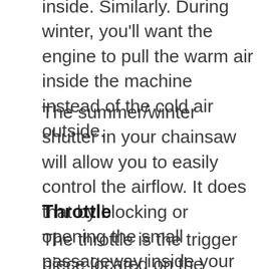inside. Similarly. During winter, you'll want the engine to pull the warm air inside the machine instead of the cold air outside.
The summer/winter shutter in your chainsaw will allow you to easily control the airflow. It does that by blocking or opening the small passageway inside your chainsaw. Further, it is important to keep in mind that this point will look different for different chainsaws. However, the basic function of all the chainsaws is the same.
Throttle
The throttle is the trigger piece located on the interior of the chainsaw's handle. It is basically the gas pedal in the chainsaw that